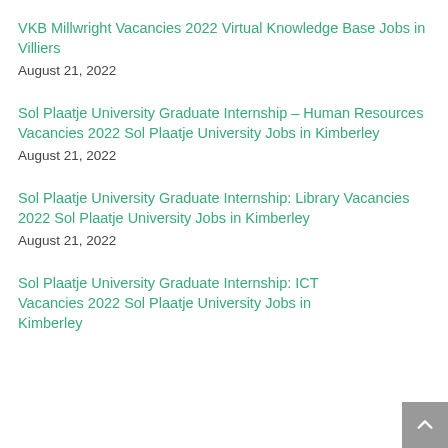VKB Millwright Vacancies 2022 Virtual Knowledge Base Jobs in Villiers
August 21, 2022
Sol Plaatje University Graduate Internship – Human Resources Vacancies 2022 Sol Plaatje University Jobs in Kimberley
August 21, 2022
Sol Plaatje University Graduate Internship: Library Vacancies 2022 Sol Plaatje University Jobs in Kimberley
August 21, 2022
Sol Plaatje University Graduate Internship: ICT Vacancies 2022 Sol Plaatje University Jobs in Kimberley